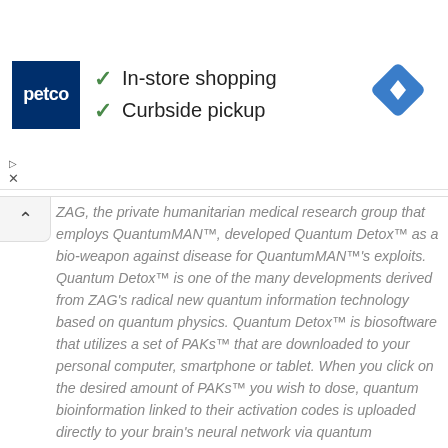[Figure (screenshot): Petco advertisement banner showing logo, checkmarks for 'In-store shopping' and 'Curbside pickup', and a blue navigation diamond icon on the right]
ZAG, the private humanitarian medical research group that employs QuantumMAN™, developed Quantum Detox™ as a bio-weapon against disease for QuantumMAN™'s exploits. Quantum Detox™ is one of the many developments derived from ZAG's radical new quantum information technology based on quantum physics. Quantum Detox™ is biosoftware that utilizes a set of PAKs™ that are downloaded to your personal computer, smartphone or tablet. When you click on the desired amount of PAKs™ you wish to dose, quantum bioinformation linked to their activation codes is uploaded directly to your brain's neural network via quantum teleportation. This quantum bioinformation consists of physiologic directives that program your brain to the specifications of Quantum Detox™...